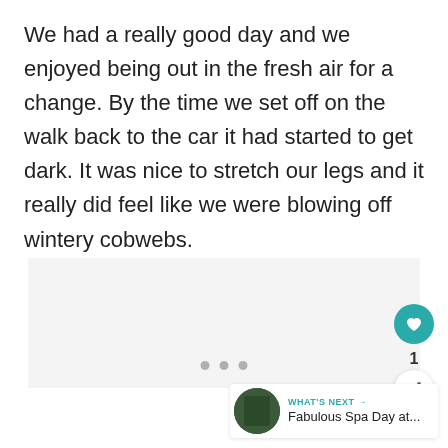We had a really good day and we enjoyed being out in the fresh air for a change. By the time we set off on the walk back to the car it had started to get dark. It was nice to stretch our legs and it really did feel like we were blowing off wintery cobwebs.
[Figure (photo): Light gray placeholder image area below the main text]
[Figure (infographic): UI overlay elements: like button (teal circle with heart icon), like count '1', share button (white circle with share icon), dot navigation (three gray dots), and 'What's Next' bar with thumbnail and text 'Fabulous Spa Day at...']